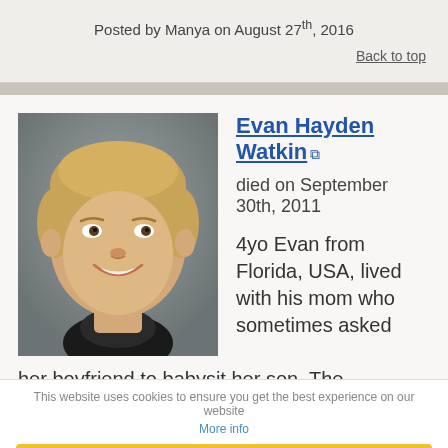Posted by Manya on August 27th, 2016
Back to top
Evan Hayden Watkin
died on September 30th, 2011
[Figure (photo): Portrait photo of a young boy, approximately 4 years old, with light brown hair, smiling, wearing a dark shirt, against a grey background.]
4yo Evan from Florida, USA, lived with his mom who sometimes asked her boyfriend to babysit her son. The boyfriend felt she didn't discipline Evan enough; that made
This website uses cookies to ensure you get the best experience on our website
More info
Got it!